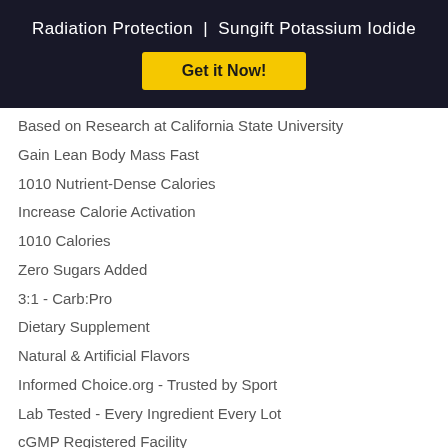Radiation Protection | Sungift Potassium Iodide
[Figure (other): Yellow 'Get it Now!' call-to-action button on dark navy background]
Based on Research at California State University
Gain Lean Body Mass Fast
1010 Nutrient-Dense Calories
Increase Calorie Activation
1010 Calories
Zero Sugars Added
3:1 - Carb:Pro
Dietary Supplement
Natural & Artificial Flavors
Informed Choice.org - Trusted by Sport
Lab Tested - Every Ingredient Every Lot
cGMP Registered Facility
100% Whole Protein Source
Kosher Dairy
No Artificial Color / Dye
Sweetened with Sucralose
Lean Mass Gains: Over 1,000 Calories per Serving!
1010 Calories Per Serving